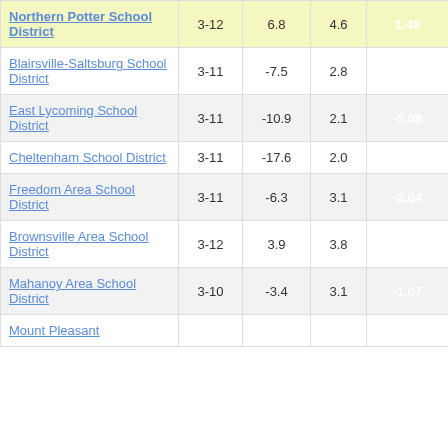| School District | Grades | Col3 | Col4 | Score | Col6 |
| --- | --- | --- | --- | --- | --- |
| Northern Potter School District | 3-12 | 6.8 | 4.6 | 1.48 | 3 |
| Blairsville-Saltsburg School District | 3-11 | -7.5 | 2.8 | -2.67 |  |
| East Lycoming School District | 3-11 | -10.9 | 2.1 | -5.08 |  |
| Cheltenham School District | 3-11 | -17.6 | 2.0 | -8.74 |  |
| Freedom Area School District | 3-11 | -6.3 | 3.1 | -2.04 |  |
| Brownsville Area School District | 3-12 | 3.9 | 3.8 | 1.04 |  |
| Mahanoy Area School District | 3-10 | -3.4 | 3.1 | -1.07 |  |
| Mount Pleasant |  |  |  |  |  |